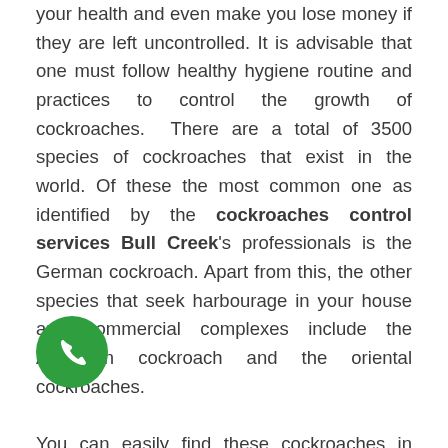your health and even make you lose money if they are left uncontrolled. It is advisable that one must follow healthy hygiene routine and practices to control the growth of cockroaches. There are a total of 3500 species of cockroaches that exist in the world. Of these the most common one as identified by the cockroaches control services Bull Creek's professionals is the German cockroach. Apart from this, the other species that seek harbourage in your house and commercial complexes include the American cockroach and the oriental cockroaches.

You can easily find these cockroaches in commercial complexes, food processing units, warehouses, residential a ts. To sum, places which provide an adequate environment for their growth tend to be their favourite
[Figure (other): Green circular phone/call button icon overlaid on the text content]